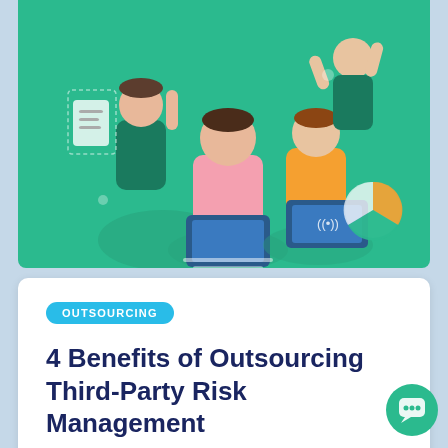[Figure (illustration): Illustration of people working collaboratively on laptops and documents on a green background]
OUTSOURCING
4 Benefits of Outsourcing Third-Party Risk Management
Read
[Figure (illustration): Partial illustration with globe and charts on a purple/blue background, with a teal chat bubble icon]